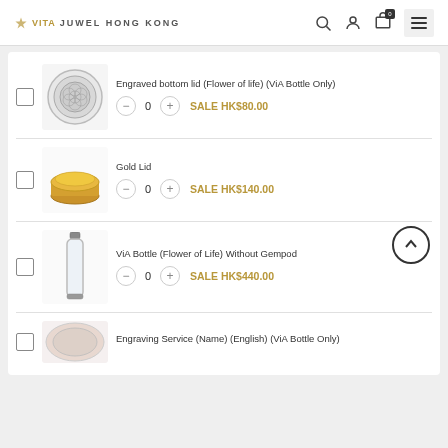VITAJUWEL HONG KONG
Engraved bottom lid (Flower of life) (ViA Bottle Only) - SALE HK$80.00
Gold Lid - SALE HK$140.00
ViA Bottle (Flower of Life) Without Gempod - SALE HK$440.00
Engraving Service (Name) (English) (ViA Bottle Only)